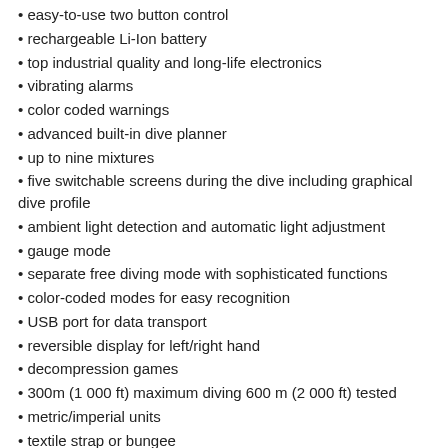easy-to-use two button control
rechargeable Li-Ion battery
top industrial quality and long-life electronics
vibrating alarms
color coded warnings
advanced built-in dive planner
up to nine mixtures
five switchable screens during the dive including graphical dive profile
ambient light detection and automatic light adjustment
gauge mode
separate free diving mode with sophisticated functions
color-coded modes for easy recognition
USB port for data transport
reversible display for left/right hand
decompression games
300m (1 000 ft) maximum diving 600 m (2 000 ft) tested
metric/imperial units
textile strap or bungee
WETNOTES.COM on-line application for data transfer, logging your dives and sharing with others with numerous functions